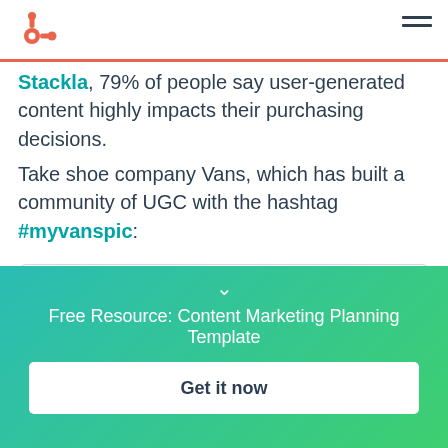HubSpot logo and navigation
Stackla, 79% of people say user-generated content highly impacts their purchasing decisions.
Take shoe company Vans, which has built a community of UGC with the hashtag #myvanspic:
[Figure (screenshot): A social media post card placeholder with a circular avatar, two lines of placeholder text, and circular icons in orange/teal colors]
Free Resource: Content Marketing Planning Template
Get it now